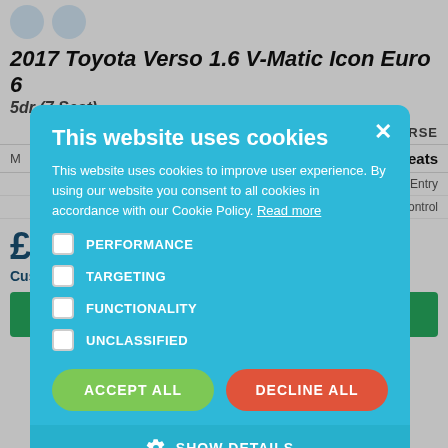2017 Toyota Verso 1.6 V-Matic Icon Euro 6 5dr (7 Seat)
SMART | REVERSE
7 Seats
Keyless Entry
Cruise Control
£237 p/m (PCP)
Customise Finance
This website uses cookies
This website uses cookies to improve user experience. By using our website you consent to all cookies in accordance with our Cookie Policy. Read more
PERFORMANCE
TARGETING
FUNCTIONALITY
UNCLASSIFIED
ACCEPT ALL
DECLINE ALL
SHOW DETAILS